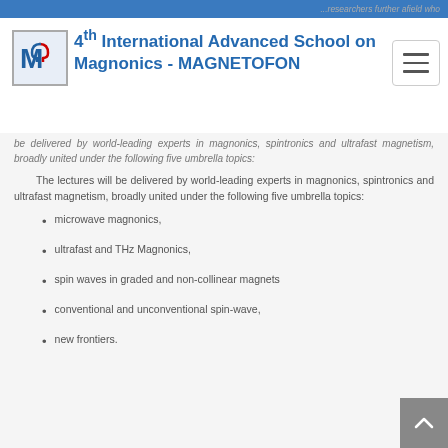...researchers further afield who
[Figure (logo): MAGNETOFON school logo with stylized M and magnet icon]
4th International Advanced School on Magnonics - MAGNETOFON
be delivered by world-leading experts in magnonics, spintronics and ultrafast magnetism, broadly united under the following five umbrella topics:
The lectures will be delivered by world-leading experts in magnonics, spintronics and ultrafast magnetism, broadly united under the following five umbrella topics:
microwave magnonics,
ultrafast and THz Magnonics,
spin waves in graded and non-collinear magnets
conventional and unconventional spin-wave,
new frontiers.